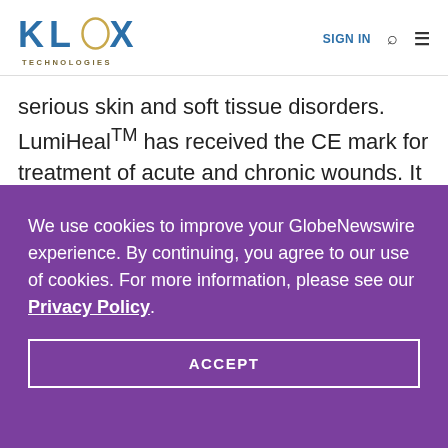[Figure (logo): KLOX Technologies logo — blue KLOX text with a circular graphic, TECHNOLOGIES tagline below]
serious skin and soft tissue disorders. LumiHeal™ has received the CE mark for treatment of acute and chronic wounds. It is
We use cookies to improve your GlobeNewswire experience. By continuing, you agree to our use of cookies. For more information, please see our Privacy Policy.
ACCEPT